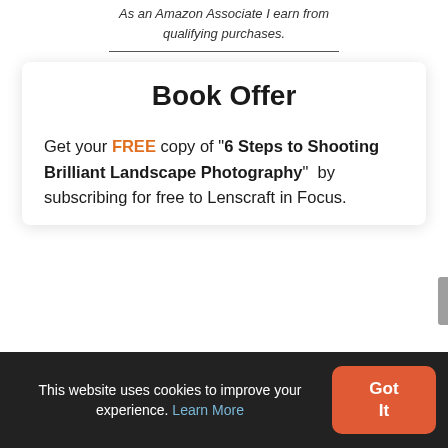As an Amazon Associate I earn from qualifying purchases.
Book Offer
Get your FREE copy of "6 Steps to Shooting Brilliant Landscape Photography" by subscribing for free to Lenscraft in Focus.
This website uses cookies to improve your experience. Learn More